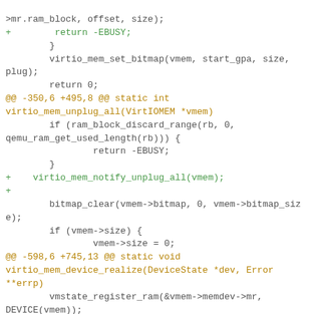[Figure (screenshot): Code diff snippet showing changes to virtio_mem C source file with hunk headers in orange/gold, added lines in green, and context lines in gray/dark.]